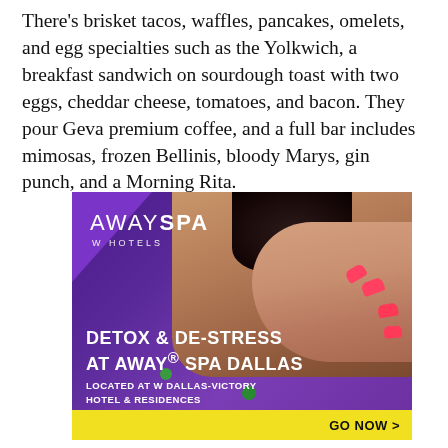There's brisket tacos, waffles, pancakes, omelets, and egg specialties such as the Yolkwich, a breakfast sandwich on sourdough toast with two eggs, cheddar cheese, tomatoes, and bacon. They pour Geva premium coffee, and a full bar includes mimosas, frozen Bellinis, bloody Marys, gin punch, and a Morning Rita.
[Figure (photo): Advertisement for AWAY SPA at W Hotels. Shows a person receiving a massage with bright pink nails visible. Dark purple background with bold white text reading 'DETOX & DE-STRESS AT AWAY® SPA DALLAS' and 'LOCATED AT W DALLAS-VICTORY HOTEL & RESIDENCES'. Yellow call-to-action bar at bottom reads 'GO NOW >'. AWAY SPA W Hotels logo in white at top left.]